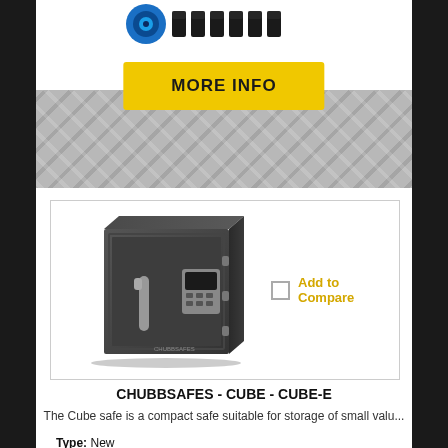[Figure (logo): Cubiton or similar brand logo with blue circular eye graphic and stylized text]
[Figure (other): Yellow button labeled MORE INFO]
[Figure (photo): Dark grey compact safe (Chubbsafes Cube) with electronic keypad and handle on front door]
Add to Compare
CHUBBSAFES - CUBE - CUBE-E
The Cube safe is a compact safe suitable for storage of small valu...
Type: New